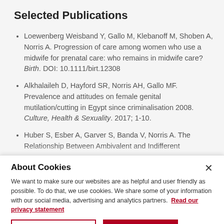Selected Publications
Loewenberg Weisband Y, Gallo M, Klebanoff M, Shoben A, Norris A. Progression of care among women who use a midwife for prenatal care: who remains in midwife care? Birth. DOI: 10.1111/birt.12308
Alkhalaileh D, Hayford SR, Norris AH, Gallo MF. Prevalence and attitudes on female genital mutilation/cutting in Egypt since criminalisation 2008. Culture, Health & Sexuality. 2017; 1-10.
Huber S, Esber A, Garver S, Banda V, Norris A. The Relationship Between Ambivalent and Indifferent
About Cookies
We want to make sure our websites are as helpful and user friendly as possible. To do that, we use cookies. We share some of your information with our social media, advertising and analytics partners. Read our privacy statement